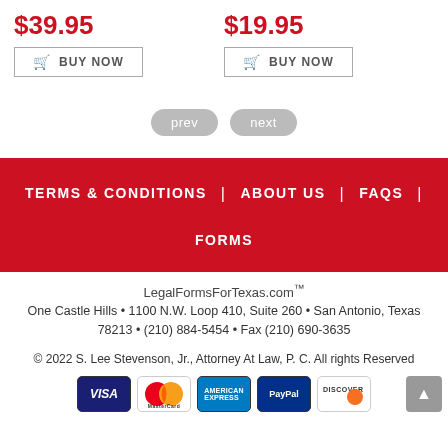$39.95
$19.95
BUY NOW
BUY NOW
prev
next
TERMS & CONDITIONS | ABOUT US | FAQS | FORMS
LegalFormsForTexas.com™
One Castle Hills • 1100 N.W. Loop 410, Suite 260 • San Antonio, Texas 78213 • (210) 884-5454 • Fax (210) 690-3635
© 2022 S. Lee Stevenson, Jr., Attorney At Law, P. C. All rights Reserved
[Figure (other): Payment method logos: VISA, MasterCard, American Express, PayPal, Discover]